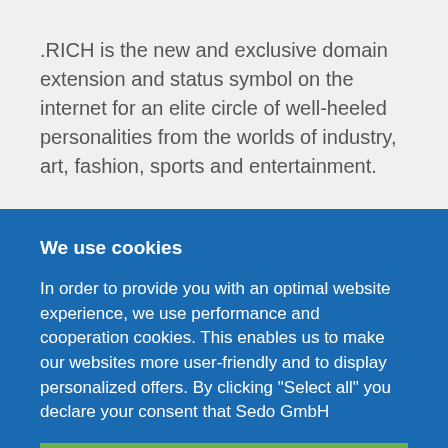.RICH is the new and exclusive domain extension and status symbol on the internet for an elite circle of well-heeled personalities from the worlds of industry, art, fashion, sports and entertainment.
We use cookies
In order to provide you with an optimal website experience, we use performance and cooperation cookies. This enables us to make our websites more user-friendly and to display personalized offers. By clicking "Select all" you declare your consent that Sedo GmbH
Select all
Confirm selection